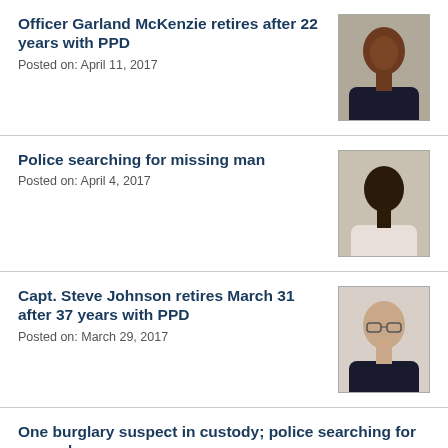Officer Garland McKenzie retires after 22 years with PPD
Posted on: April 11, 2017
[Figure (photo): Headshot photo of Officer Garland McKenzie in police uniform]
Police searching for missing man
Posted on: April 4, 2017
[Figure (photo): Headshot photo of missing man]
Capt. Steve Johnson retires March 31 after 37 years with PPD
Posted on: March 29, 2017
[Figure (photo): Headshot photo of Capt. Steve Johnson in police uniform]
One burglary suspect in custody; police searching for second
Posted on: March 27, 2017
Pensacola man charged with sexual battery and